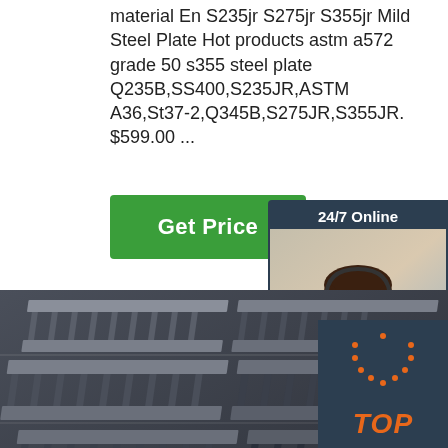material En S235jr S275jr S355jr Mild Steel Plate Hot products astm a572 grade 50 s355 steel plate Q235B,SS400,S235JR,ASTM A36,St37-2,Q345B,S275JR,S355JR. $599.00 ...
[Figure (other): Green 'Get Price' button]
[Figure (other): Chat widget with '24/7 Online' header, photo of customer service representative with headset, 'Click here for free chat!' text, and orange 'QUOTATION' button]
[Figure (photo): Close-up photo of stacked steel H-beams/I-beams viewed from angle, showing dark grey metallic structural steel sections]
[Figure (other): Dark 'TOP' badge with orange dotted arc and text in bottom right corner]